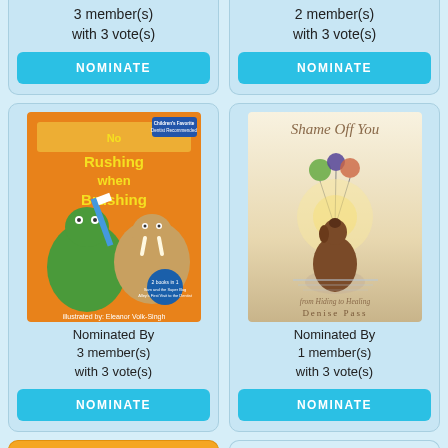3 member(s) with 3 vote(s)
NOMINATE
2 member(s) with 3 vote(s)
NOMINATE
[Figure (illustration): Book cover: No Rushing when Brushing — children's book with cartoon alligator and walrus brushing teeth]
Nominated By 3 member(s) with 3 vote(s)
NOMINATE
[Figure (illustration): Book cover: Shame Off You — from Hiding to Healing by Denise Pass, showing a dog/seal in water holding balloons]
Nominated By 1 member(s) with 3 vote(s)
NOMINATE